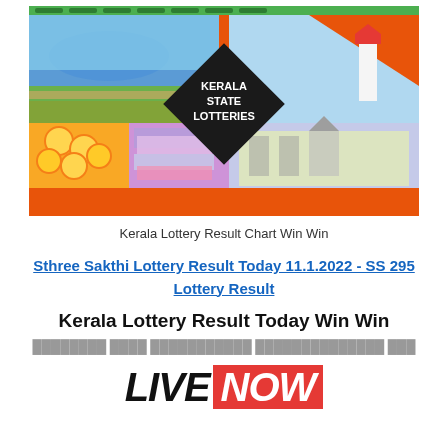[Figure (photo): Kerala State Lotteries banner collage showing beach, lighthouse, coins, currency notes, and a palace building, with a diamond-shaped black logo in the center reading KERALA STATE LOTTERIES, and orange triangular decorative elements.]
Kerala Lottery Result Chart Win Win
Sthree Sakthi Lottery Result Today 11.1.2022 - SS 295 Lottery Result
Kerala Lottery Result Today Win Win
ഇനിയൊരു ലോട്ടറി ഫലങ്ങൾക്കായി കാത്തിരിക്കുന്ന ഒരു
[Figure (other): LIVE NOW text graphic with black bold italic LIVE and red bold italic NOW on red background]